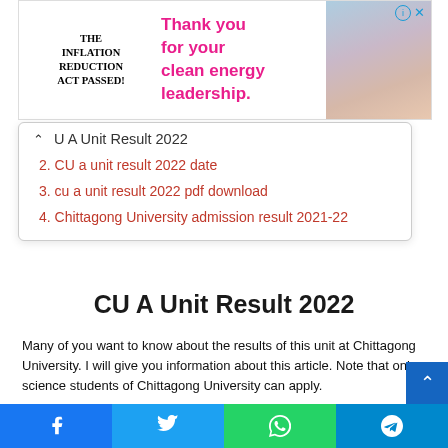[Figure (screenshot): Advertisement banner: 'THE INFLATION REDUCTION ACT PASSED!' with pink text 'Thank you for your clean energy leadership.' and child photo on right, with close button (i)(x).]
U A Unit Result 2022
2. CU a unit result 2022 date
3. cu a unit result 2022 pdf download
4. Chittagong University admission result 2021-22
CU A Unit Result 2022
Many of you want to know about the results of this unit at Chittagong University. I will give you information about this article. Note that only science students of Chittagong University can apply.